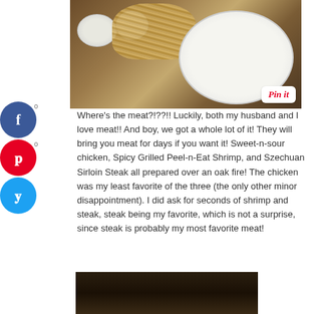[Figure (photo): Food photo showing a plate of noodles with stir-fry vegetables and meat, two small bowls (one with dark sauce, one with tea or soup) on a wooden table. A 'Pin it' button overlay is visible in the bottom right of the image.]
Where's the meat?!??!! Luckily, both my husband and I love meat!! And boy, we got a whole lot of it! They will bring you meat for days if you want it! Sweet-n-sour chicken, Spicy Grilled Peel-n-Eat Shrimp, and Szechuan Sirloin Steak all prepared over an oak fire! The chicken was my least favorite of the three (the only other minor disappointment). I did ask for seconds of shrimp and steak, steak being my favorite, which is not a surprise, since steak is probably my most favorite meat!
[Figure (photo): Partial photo at bottom of page, dark image showing a food item or person in a restaurant setting.]